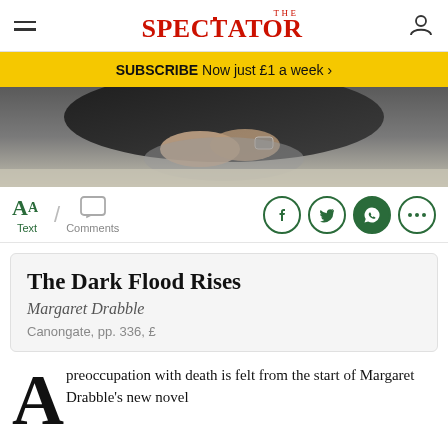THE SPECTATOR
SUBSCRIBE Now just £1 a week >
[Figure (photo): Close-up photo of hands clasped together, person wearing a dark jacket and watch, outdoors on a gravel surface]
Text / Comments [social share icons: Facebook, Twitter, WhatsApp, More]
The Dark Flood Rises
Margaret Drabble
Canongate, pp. 336, £
preoccupation with death is felt from the start of Margaret Drabble's new novel